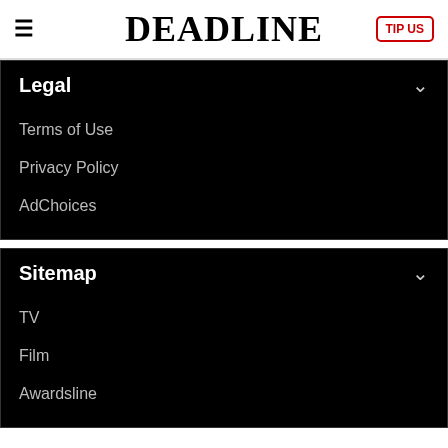DEADLINE
Legal
Terms of Use
Privacy Policy
AdChoices
Sitemap
TV
Film
Awardsline